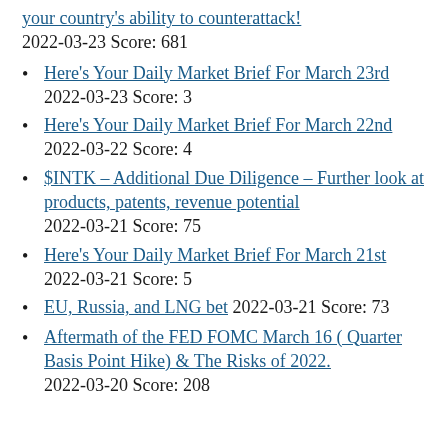your country's ability to counterattack! 2022-03-23 Score: 681
Here's Your Daily Market Brief For March 23rd 2022-03-23 Score: 3
Here's Your Daily Market Brief For March 22nd 2022-03-22 Score: 4
$INTK – Additional Due Diligence – Further look at products, patents, revenue potential 2022-03-21 Score: 75
Here's Your Daily Market Brief For March 21st 2022-03-21 Score: 5
EU, Russia, and LNG bet 2022-03-21 Score: 73
Aftermath of the FED FOMC March 16 ( Quarter Basis Point Hike) & The Risks of 2022. 2022-03-20 Score: 208